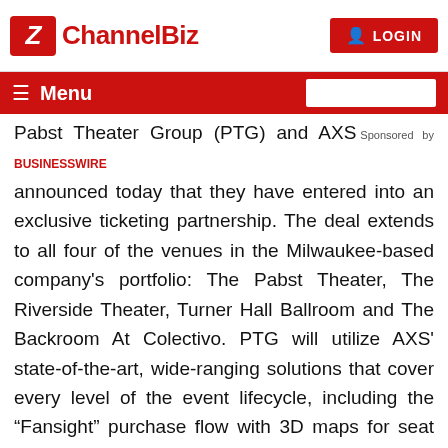ChannelBiz | LOGIN
Menu
Pabst Theater Group (PTG) and AXS announced today that they have entered into an exclusive ticketing partnership. The deal extends to all four of the venues in the Milwaukee-based company's portfolio: The Pabst Theater, The Riverside Theater, Turner Hall Ballroom and The Backroom At Colectivo. PTG will utilize AXS’ state-of-the-art, wide-ranging solutions that cover every level of the event lifecycle, including the “Fansight” purchase flow with 3D maps for seat selection, integrated venue website by Carbonhouse, premium dynamic pricing solutions, the “Fan Account” membership solution, paperless entry with AXS Mobile ID, “AXS Anywhere” with the AXS open distribution API, and more.